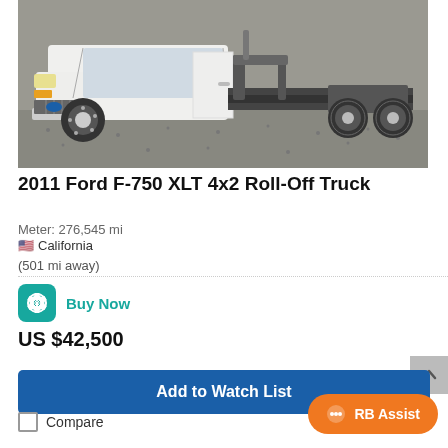[Figure (photo): White Ford F-750 XLT Roll-Off Truck parked on a gravel surface, photographed from the side-front angle showing the cab and rear dual axle with no body/bed attached.]
2011 Ford F-750 XLT 4x2 Roll-Off Truck
Meter: 276,545 mi
🇺🇸 California
(501 mi away)
Buy Now
US $42,500
Add to Watch List
RB Assist
Compare